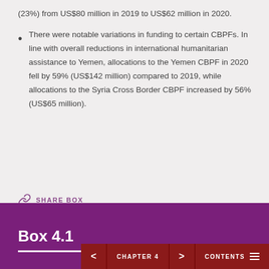(23%) from US$80 million in 2019 to US$62 million in 2020.
There were notable variations in funding to certain CBPFs. In line with overall reductions in international humanitarian assistance to Yemen, allocations to the Yemen CBPF in 2020 fell by 59% (US$142 million) compared to 2019, while allocations to the Syria Cross Border CBPF increased by 56% (US$65 million).
SHARE BOX
Box 4.1